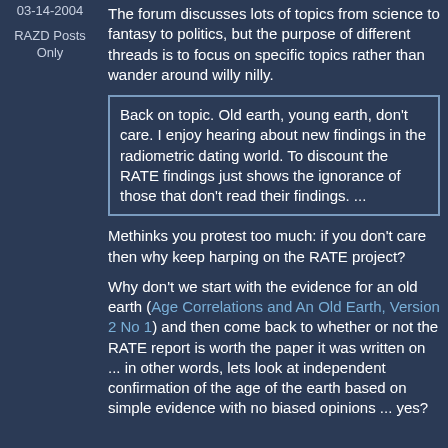03-14-2004
RAZD Posts Only
The forum discusses lots of topics from science to fantasy to politics, but the purpose of different threads is to focus on specific topics rather than wander around willy nilly.
Back on topic. Old earth, young earth, don't care. I enjoy hearing about new findings in the radiometric dating world. To discount the RATE findings just shows the ignorance of those that don't read their findings. ...
Methinks you protest too much: if you don't care then why keep harping on the RATE project?
Why don't we start with the evidence for an old earth (Age Correlations and An Old Earth, Version 2 No 1) and then come back to whether or not the RATE report is worth the paper it was written on ... in other words, lets look at independent confirmation of the age of the earth based on simple evidence with no biased opinions ... yes?